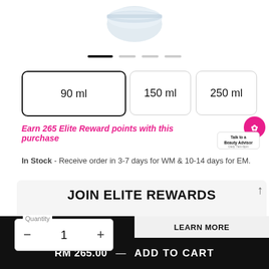[Figure (photo): Product image - cosmetic jar/cream container partially visible at top of page]
[Figure (other): Carousel navigation dots - one active black bar and three lighter bars]
90 ml
150 ml
250 ml
Earn 265 Elite Reward points with this purchase
[Figure (other): Talk to a Beauty Advisor badge - pink circular button with text]
In Stock - Receive order in 3-7 days for WM & 10-14 days for EM.
JOIN ELITE REWARDS
Enjoy your rewards now: join to earn your first 265 BONUS POINTS
Quantity
1
RM 265.00 — ADD TO CART
JOIN NOW
LEARN MORE